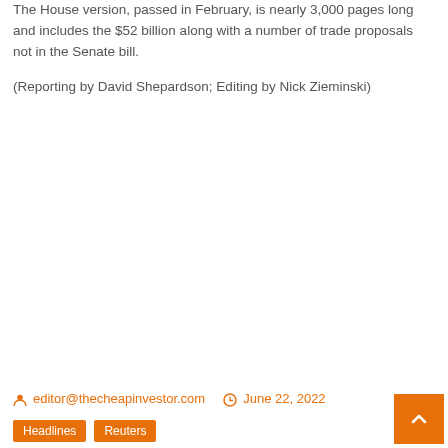The House version, passed in February, is nearly 3,000 pages long and includes the $52 billion along with a number of trade proposals not in the Senate bill.
(Reporting by David Shepardson; Editing by Nick Zieminski)
editor@thecheapinvestor.com   June 22, 2022   Headlines   Reuters